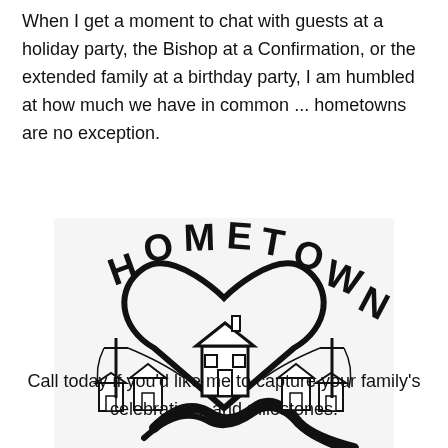When I get a moment to chat with guests at a holiday party, the Bishop at a Confirmation, or the extended family at a birthday party, I am humbled at how much we have in common ... hometowns are no exception.
[Figure (logo): Black and white 'HOME TOWN' logo with bold stylized lettering arched over a heart shape containing a large house, flanked by smaller houses and utility poles connected by wires, with a winding road at the bottom.]
Call today if you'd like me to capture your family's celebrations and milestones.